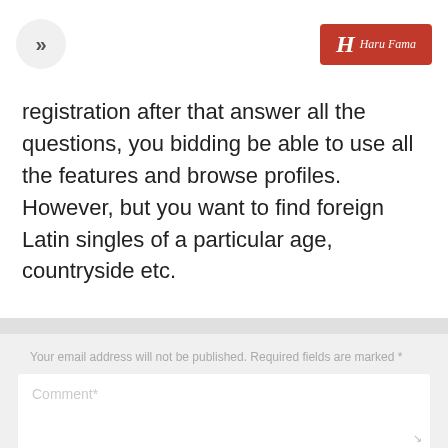>> [navigation] | [Haru Fama logo]
registration after that answer all the questions, you bidding be able to use all the features and browse profiles. However, but you want to find foreign Latin singles of a particular age, countryside etc.
Your email address will not be published. Required fields are marked *
Comment*
Name *
Email *